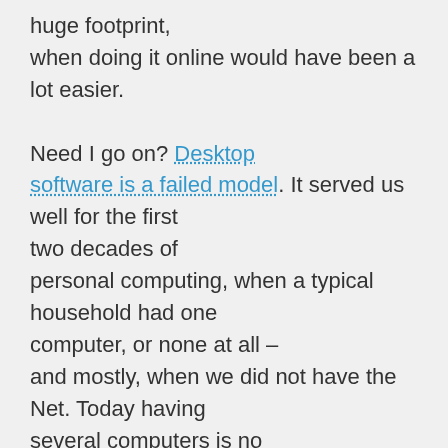huge footprint, when doing it online would have been a lot easier.

Need I go on? Desktop software is a failed model. It served us well for the first two decades of personal computing, when a typical household had one computer, or none at all – and mostly, when we did not have the Net. Today having several computers is no longer a luxury, but keeping them synchronized, protected, the OS, tools and applications updated is becoming a major nightmare. Time for a better model: accessing your apps and data from anywhere, anytime (as long as you're connected), never get obsolete version, and easily collaborate as you need